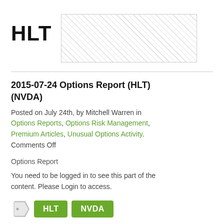HLT
[Figure (other): Hatched/crosshatched placeholder image box to the right of the HLT title]
2015-07-24 Options Report (HLT) (NVDA)
Posted on July 24th, by Mitchell Warren in Options Reports, Options Risk Management, Premium Articles, Unusual Options Activity. Comments Off
Options Report
You need to be logged in to see this part of the content. Please Login to access.
HLT  NVDA  Options Report